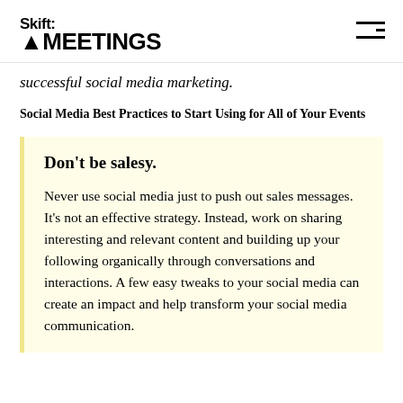Skift MEETINGS
successful social media marketing.
Social Media Best Practices to Start Using for All of Your Events
Don't be salesy.
Never use social media just to push out sales messages. It's not an effective strategy. Instead, work on sharing interesting and relevant content and building up your following organically through conversations and interactions. A few easy tweaks to your social media can create an impact and help transform your social media communication.